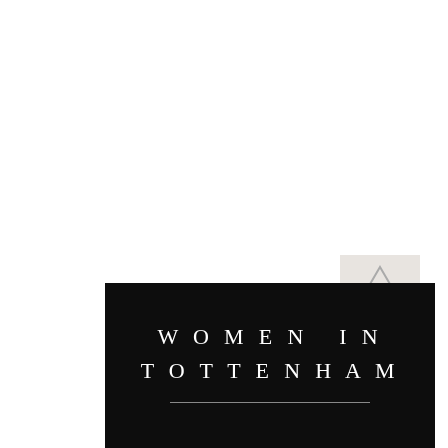[Figure (logo): Small square logo mark with a triangular or abstract shape, light grey on white background, positioned in lower right of white area]
WOMEN IN TOTTENHAM